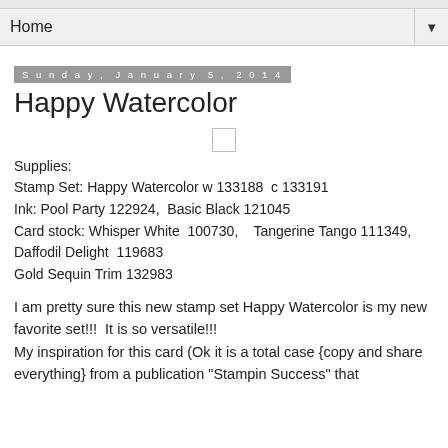Home ▼
Sunday, January 5, 2014
Happy Watercolor
[Figure (other): Small placeholder image icon (broken/unloaded image box)]
Supplies:
Stamp Set: Happy Watercolor w 133188  c 133191
Ink: Pool Party 122924,  Basic Black 121045
Card stock: Whisper White  100730,   Tangerine Tango 111349,   Daffodil Delight  119683
Gold Sequin Trim 132983
I am pretty sure this new stamp set Happy Watercolor is my new favorite set!!!  It is so versatile!!!
My inspiration for this card (Ok it is a total case {copy and share everything} from a publication "Stampin Success" that